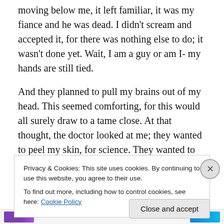moving below me, it left familiar, it was my fiance and he was dead. I didn't scream and accepted it, for there was nothing else to do; it wasn't done yet. Wait, I am a guy or am I- my hands are still tied.
And they planned to pull my brains out of my head. This seemed comforting, for this would all surely draw to a tame close. At that thought, the doctor looked at me; they wanted to peel my skin, for science. They wanted to test the pain barriers, apparently, for science. Presently they taped my mouth, and the man in the white coat walked up
Privacy & Cookies: This site uses cookies. By continuing to use this website, you agree to their use.
To find out more, including how to control cookies, see here: Cookie Policy
Close and accept